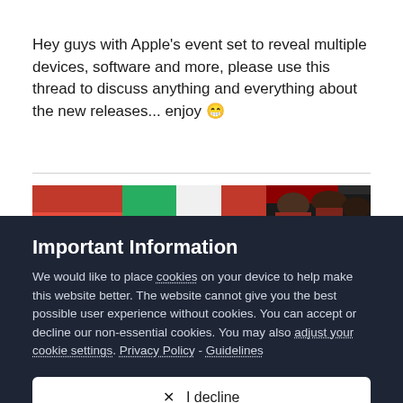Hey guys with Apple's event set to reveal multiple devices, software and more, please use this thread to discuss anything and everything about the new releases... enjoy 😁
[Figure (photo): Partial view of a photo showing people, partially obscured by cookie consent banner]
Important Information
We would like to place cookies on your device to help make this website better. The website cannot give you the best possible user experience without cookies. You can accept or decline our non-essential cookies. You may also adjust your cookie settings. Privacy Policy - Guidelines
✕  I decline
✓  I accept